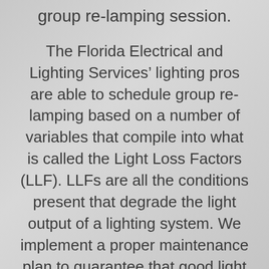group re-lamping session.
The Florida Electrical and Lighting Services’ lighting pros are able to schedule group re-lamping based on a number of variables that compile into what is called the Light Loss Factors (LLF). LLFs are all the conditions present that degrade the light output of a lighting system. We implement a proper maintenance plan to guarantee that good light levels are always achieved. Your lamp’s manufacturer data will help us to determine the expected life of the